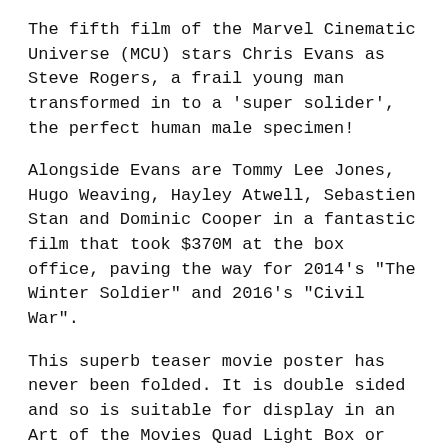The fifth film of the Marvel Cinematic Universe (MCU) stars Chris Evans as Steve Rogers, a frail young man transformed in to a 'super solider', the perfect human male specimen!
Alongside Evans are Tommy Lee Jones, Hugo Weaving, Hayley Atwell, Sebastien Stan and Dominic Cooper in a fantastic film that took $370M at the box office, paving the way for 2014's "The Winter Soldier" and 2016's "Civil War".
This superb teaser movie poster has never been folded. It is double sided and so is suitable for display in an Art of the Movies Quad Light Box or traditional framing.
We only sell guaranteed original movie posters. We do not sell reproductions.
Note: This poster is priced unframed. Photos showing framed and 'in room' images are for illustration only.